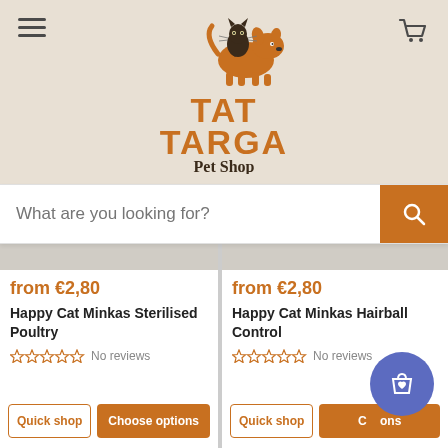[Figure (logo): Tattarga Pet Shop logo with orange text and animal silhouettes]
What are you looking for?
from €2,80
Happy Cat Minkas Sterilised Poultry
No reviews
from €2,80
Happy Cat Minkas Hairball Control
No reviews